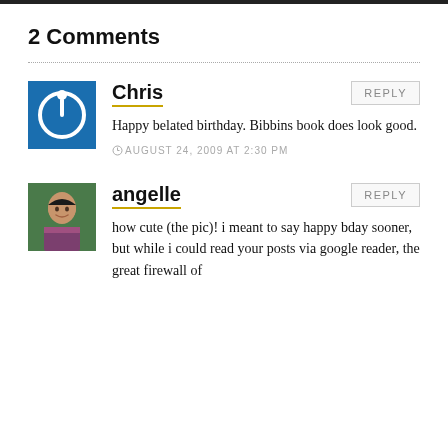2 Comments
Chris
Happy belated birthday. Bibbins book does look good.
AUGUST 24, 2009 AT 2:30 PM
angelle
how cute (the pic)! i meant to say happy bday sooner, but while i could read your posts via google reader, the great firewall of